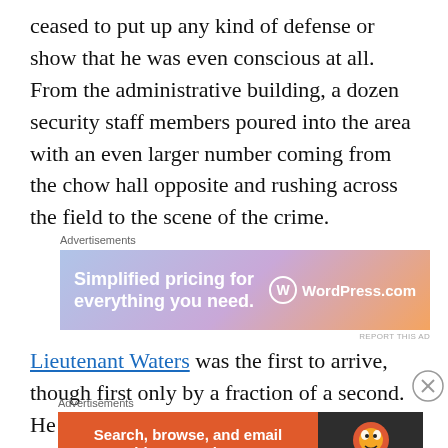ceased to put up any kind of defense or show that he was even conscious at all. From the administrative building, a dozen security staff members poured into the area with an even larger number coming from the chow hall opposite and rushing across the field to the scene of the crime.
[Figure (other): WordPress.com advertisement banner: 'Simplified pricing for everything you need.' with WordPress.com logo on gradient background]
Lieutenant Waters was the first to arrive, though first only by a fraction of a second. He
[Figure (other): DuckDuckGo advertisement banner: 'Search, browse, and email with more privacy. All in One Free App' with DuckDuckGo logo]